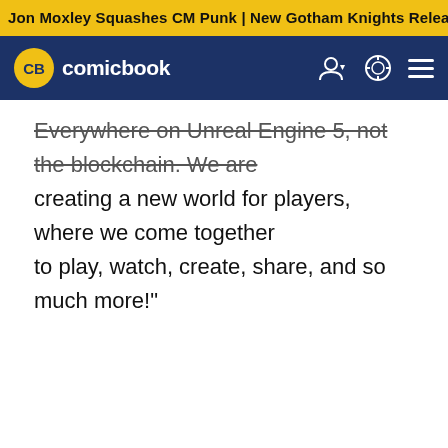Jon Moxley Squashes CM Punk | New Gotham Knights Releas
comicbook
Everywhere on Unreal Engine 5, not the blockchain. We are creating a new world for players, where we come together to play, watch, create, share, and so much more!"